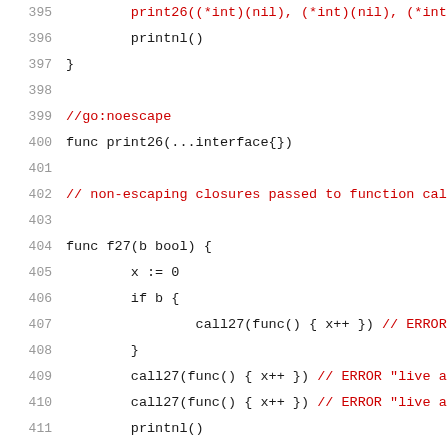[Figure (screenshot): Source code listing in Go language, lines 395-415, showing functions print26, f27, and a comment about non-escaping closures. Line numbers in gray on left, code in black/red monospace font on white background. Red text indicates comments.]